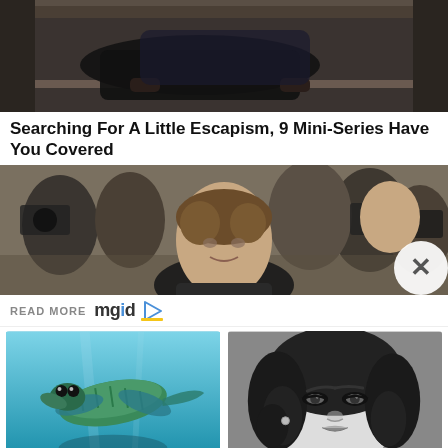[Figure (photo): Dark scene of a person crawling through or near a window ledge, dimly lit interior]
Searching For A Little Escapism, 9 Mini-Series Have You Covered
[Figure (photo): Young man in foreground with crowd of photographers holding cameras behind him at what appears to be a press event]
READ MORE mgid
[Figure (photo): An ancient aquatic creature resembling an underwater elephant or exotic sea creature in blue water]
This Ancient Creature Looked Like An Underwater Elephant
[Figure (photo): Black and white portrait of a beautiful woman with dark curly hair and dramatic eye makeup]
9 Most Beautiful Women Of The XX Century